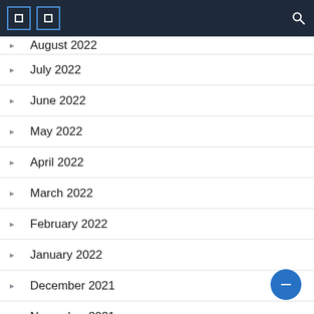Navigation bar with menu icons and search
August 2022 (partial, cut off at top)
July 2022
June 2022
May 2022
April 2022
March 2022
February 2022
January 2022
December 2021
November 2021